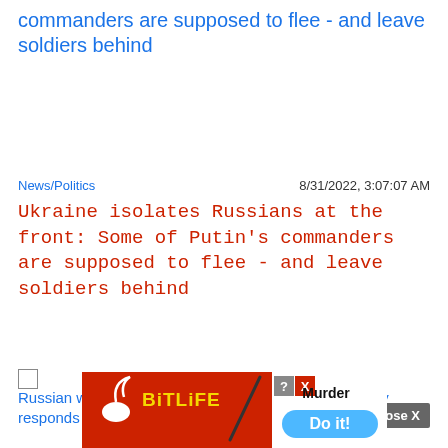commanders are supposed to flee - and leave soldiers behind
News/Politics
8/31/2022, 3:07:07 AM
Ukraine isolates Russians at the front: Some of Putin's commanders are supposed to flee - and leave soldiers behind
Russian warships spotted off British coast - British Navy responds
Close X
[Figure (screenshot): BitLife mobile game advertisement banner with red background, sperm logo, yellow BitLife text, diagonal line graphic, Murder text, and blue Do it! button]